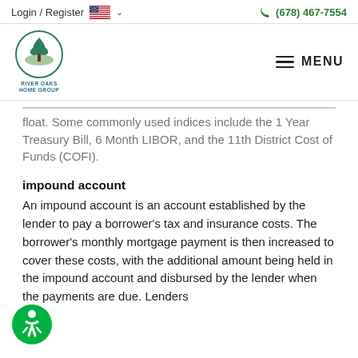Login / Register   🇺🇸 ∨          (678) 467-7554
[Figure (logo): River Oaks Home Group logo with tree in circle and MENU hamburger icon]
float. Some commonly used indices include the 1 Year Treasury Bill, 6 Month LIBOR, and the 11th District Cost of Funds (COFI).
impound account
An impound account is an account established by the lender to pay a borrower's tax and insurance costs. The borrower's monthly mortgage payment is then increased to cover these costs, with the additional amount being held in the impound account and disbursed by the lender when the payments are due. Lenders